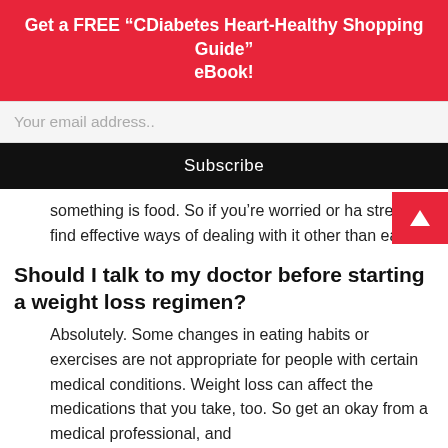Get a FREE “CDiabetes Heart-Healthy Shopping Guide” eBook!
Your email address..
Subscribe
something is food. So if you’re worried or ha stress, find effective ways of dealing with it other than eating.
Should I talk to my doctor before starting a weight loss regimen?
Absolutely. Some changes in eating habits or exercises are not appropriate for people with certain medical conditions. Weight loss can affect the medications that you take, too. So get an okay from a medical professional, and